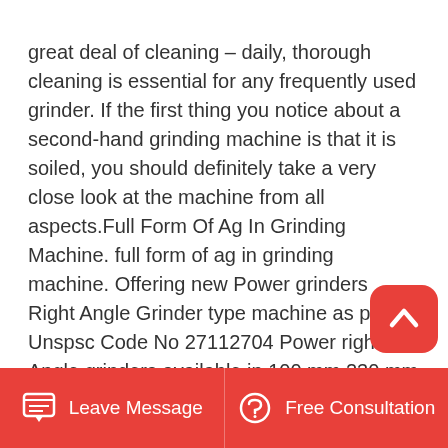great deal of cleaning – daily, thorough cleaning is essential for any frequently used grinder. If the first thing you notice about a second-hand grinding machine is that it is soiled, you should definitely take a very close look at the machine from all aspects.Full Form Of Ag In Grinding Machine. full form of ag in grinding machine. Offering new Power grinders Right Angle Grinder type machine as per Unspsc Code No 27112704 Power right Angle grinders available in 100 mm 230 mm This type of Power angle grinders all so know as AG4 and AG 7 Power Angle Grinder used in fabrication industries Offer Electric Hand Operated.May 09, 2018 Hand grinding machine is a versatile machine, can be applied to grind or cut metal objects, wood, building materials, glass and
[Figure (other): Back to top button - red rounded square with white upward chevron arrow icon]
Leave Message   Free Consultation